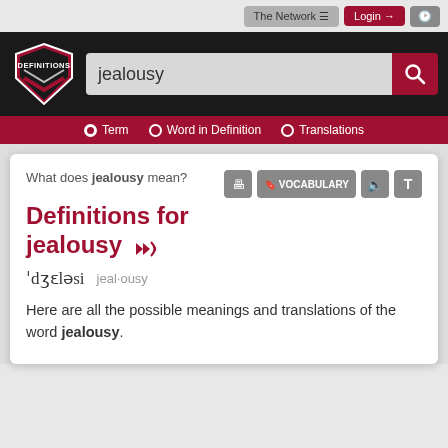[Figure (screenshot): Top navigation bar with 'The Network', 'Login', and history buttons]
[Figure (logo): Definitions.net shield logo with DEFINITIONS text]
jealousy
Term   Word in Definition   Translations
What does jealousy mean?
Definitions for jealousy
ˈdʒɛləsi   jeal·ousy
Here are all the possible meanings and translations of the word jealousy.